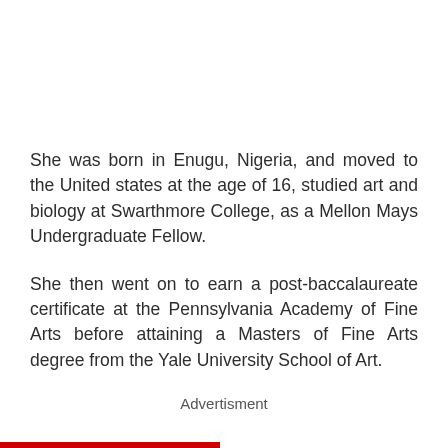She was born in Enugu, Nigeria, and moved to the United states at the age of 16, studied art and biology at Swarthmore College, as a Mellon Mays Undergraduate Fellow.
She then went on to earn a post-baccalaureate certificate at the Pennsylvania Academy of Fine Arts before attaining a Masters of Fine Arts degree from the Yale University School of Art.
Advertisment